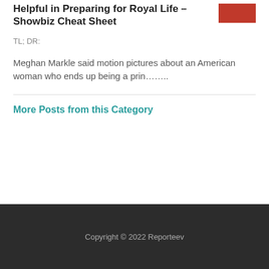Helpful in Preparing for Royal Life – Showbiz Cheat Sheet
TL; DR:
Meghan Markle said motion pictures about an American woman who ends up being a prin……..
More Posts from this Category
Copyright © 2022 Reporteev